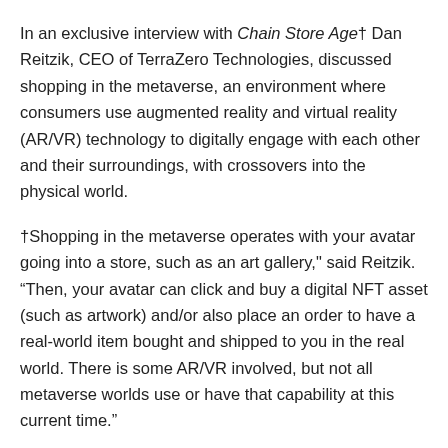In an exclusive interview with Chain Store Age† Dan Reitzik, CEO of TerraZero Technologies, discussed shopping in the metaverse, an environment where consumers use augmented reality and virtual reality (AR/VR) technology to digitally engage with each other and their surroundings, with crossovers into the physical world.
†Shopping in the metaverse operates with your avatar going into a store, such as an art gallery," said Reitzik. "Then, your avatar can click and buy a digital NFT asset (such as artwork) and/or also place an order to have a real-world item bought and shipped to you in the real world. There is some AR/VR involved, but not all metaverse worlds use or have that capability at this current time."
[Read more: Three reasons retailers find NFTs nifty]
According to Reitzik, payment in a metaverse shopping environment is typically made with cryptocurrency.